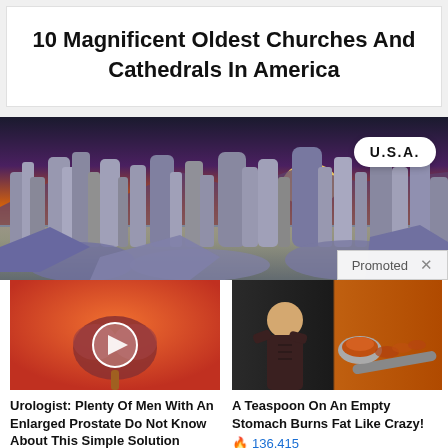10 Magnificent Oldest Churches And Cathedrals In America
[Figure (photo): Scenic landscape photo with tufa rock formations at sunset with orange sky, U.S.A. badge overlay and Promoted label]
[Figure (photo): Medical illustration of prostate with video play button overlay - advertisement image]
Urologist: Plenty Of Men With An Enlarged Prostate Do Not Know About This Simple Solution
463
[Figure (photo): Split image of athletic woman and spice on spoon - advertisement image]
A Teaspoon On An Empty Stomach Burns Fat Like Crazy!
136,415